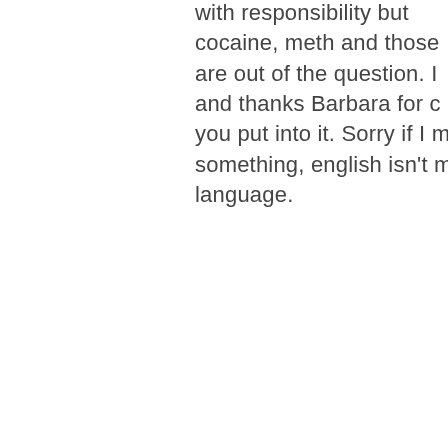with responsibility but cocaine, meth and those are out of the question. I and thanks Barbara for c you put into it. Sorry if I m something, english isn't m language.
[Figure (photo): Profile photo of a woman with red/auburn hair wearing a dark top, looking at the camera.]
Barbara
Thank you Ana an addiction destroy's Thank you for brin don't think a lot of understand how m it does. Not just to family but to your